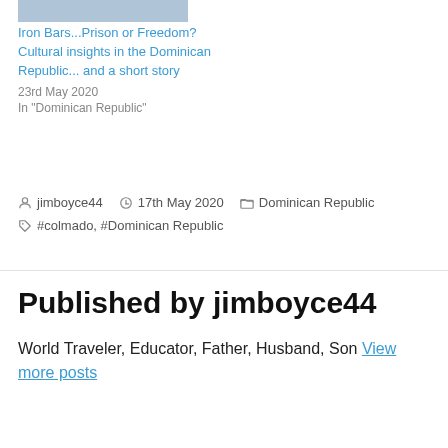[Figure (photo): Partial photo of people, cropped at top]
Iron Bars...Prison or Freedom? Cultural insights in the Dominican Republic... and a short story
23rd May 2020
In "Dominican Republic"
jimboyce44  17th May 2020  Dominican Republic  #colmado, #Dominican Republic
Published by jimboyce44
World Traveler, Educator, Father, Husband, Son View more posts